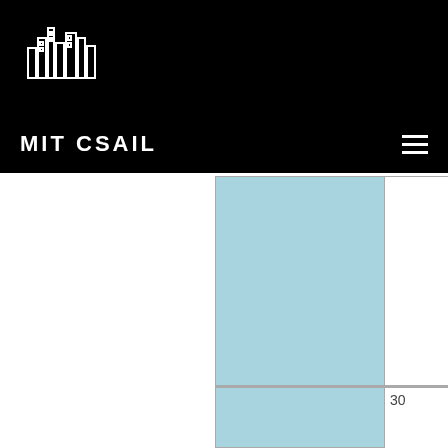[Figure (logo): MIT CSAIL city/building logo in white on black background]
MIT CSAIL
[Figure (other): Calendar or schedule grid with a light blue highlighted column and number 30 visible]